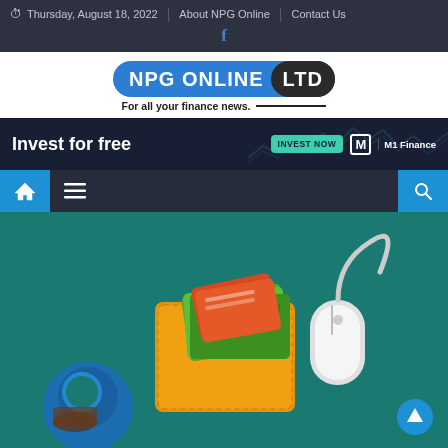Thursday, August 18, 2022 | About NPG Online | Contact Us
[Figure (logo): NPG Online LTD logo with tagline 'For all your finance news.']
[Figure (infographic): Banner advertisement: 'Invest for free' with INVEST NOW button and M1 Finance branding]
[Figure (screenshot): Website navigation bar with home icon, hamburger menu, and search icon]
[Figure (illustration): Hero image on teal background showing a wallet with cash, credit cards, and a computer mouse illustration]